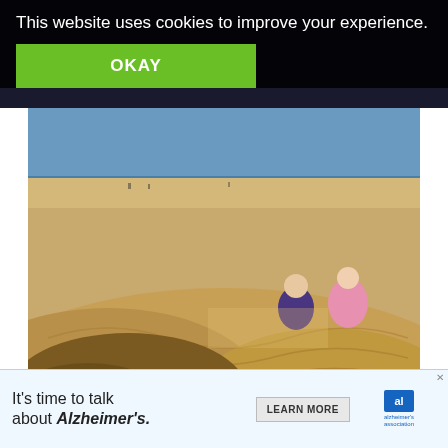This website uses cookies to improve your experience.
OKAY
[Figure (photo): Two people (one in purple, one in pink jacket) sitting on large sand dunes with the sea visible in the background. Sand dunes in foreground with rippled patterns.]
VIsiting dune du Pilat is a bit tough if your kid are very small. However, during the touristic season when the stairs are installed, easily get to the top of the dune and enjoy the
WHAT'S NEXT → Best things to do in...
[Figure (infographic): It's time to talk about Alzheimer's. LEARN MORE. Alzheimer's association logo.]